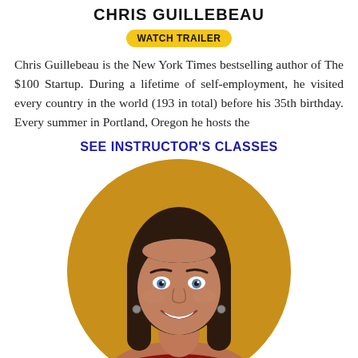CHRIS GUILLEBEAU
WATCH TRAILER
Chris Guillebeau is the New York Times bestselling author of The $100 Startup. During a lifetime of self-employment, he visited every country in the world (193 in total) before his 35th birthday. Every summer in Portland, Oregon he hosts the
SEE INSTRUCTOR'S CLASSES
[Figure (photo): Circular headshot of a smiling woman with long dark brown hair and blue eyes, wearing small hoop earrings, against a golden-yellow background.]